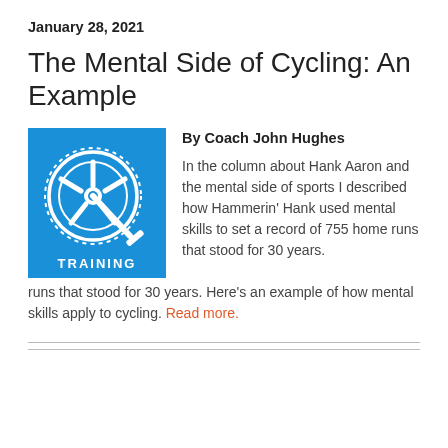January 28, 2021
The Mental Side of Cycling: An Example
[Figure (illustration): Blue square icon with white bicycle chainring/crankset illustration and the word TRAINING below it]
By Coach John Hughes
In the column about Hank Aaron and the mental side of sports I described how Hammerin' Hank used mental skills to set a record of 755 home runs that stood for 30 years. Here's an example of how mental skills apply to cycling. Read more.